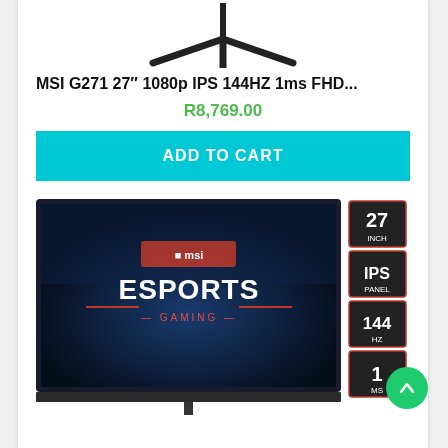[Figure (photo): Top portion of a gaming monitor stand (Y-shaped base and neck), dark/black color, on white background]
MSI G271 27″ 1080p IPS 144HZ 1ms FHD...
R8,769.00
ADD TO CART
[Figure (photo): MSI G271 gaming monitor product image showing the screen displaying MSI Esports Gaming branding with specs overlay on the right: 27 INCH, IPS PANEL, 144 HZ, 1 MS]